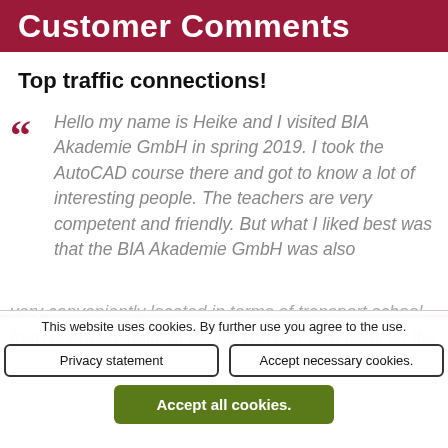Customer Comments
Top traffic connections!
Hello my name is Heike and I visited BIA Akademie GmbH in spring 2019. I took the AutoCAD course there and got to know a lot of interesting people. The teachers are very competent and friendly. But what I liked best was that the BIA Akademie GmbH was also very conveniently located in terms of transport school from Friedrichshain. In spring you can also relax on the "Möllendorff Passage" courtyard...
This website uses cookies. By further use you agree to the use.
Privacy statement
Accept necessary cookies.
Accept all cookies.